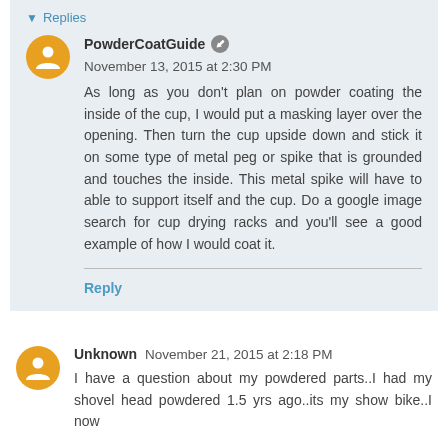▾ Replies
PowderCoatGuide ✎ November 13, 2015 at 2:30 PM
As long as you don't plan on powder coating the inside of the cup, I would put a masking layer over the opening. Then turn the cup upside down and stick it on some type of metal peg or spike that is grounded and touches the inside. This metal spike will have to able to support itself and the cup. Do a google image search for cup drying racks and you'll see a good example of how I would coat it.
Reply
Unknown November 21, 2015 at 2:18 PM
I have a question about my powdered parts..I had my shovel head powdered 1.5 yrs ago..its my show bike..I now